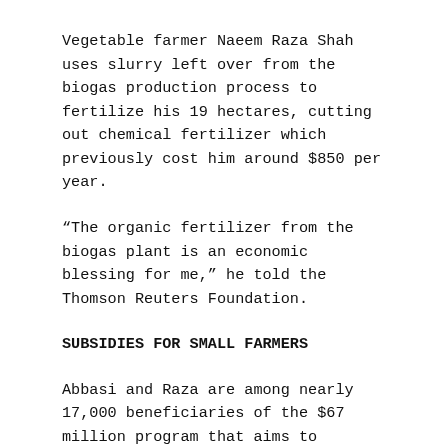Vegetable farmer Naeem Raza Shah uses slurry left over from the biogas production process to fertilize his 19 hectares, cutting out chemical fertilizer which previously cost him around $850 per year.
“The organic fertilizer from the biogas plant is an economic blessing for me,” he told the Thomson Reuters Foundation.
SUBSIDIES FOR SMALL FARMERS
Abbasi and Raza are among nearly 17,000 beneficiaries of the $67 million program that aims to convert 100,000 irrigation pumps from diesel to biogas by the end of 2017 across Punjab province.
According to Punjab Agriculture Minister Farrukh Javed, the initiative aims to reduce dependence on diesel and boost farm productivity by improving access to irrigation water and promoting the use of bio-fertilizer, while fighting